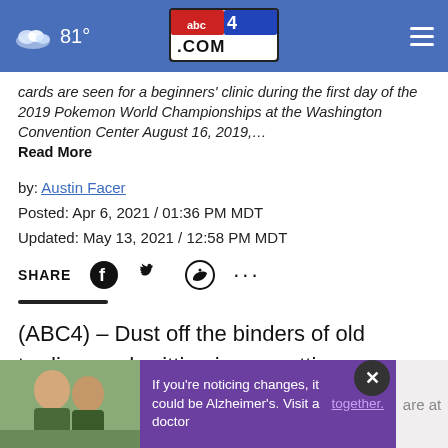81° abc4.com
cards are seen for a beginners' clinic during the first day of the 2019 Pokemon World Championships at the Washington Convention Center August 16, 2019,… Read More
by: Austin Facer
Posted: Apr 6, 2021 / 01:36 PM MDT
Updated: May 13, 2021 / 12:58 PM MDT
SHARE
(ABC4) – Dust off the binders of old trading cards sitting in your attic, you might be able to pay off the house with what's inside.
The tr and sports are at
[Figure (screenshot): Advertisement overlay: photo of two men, purple background with Alzheimer's awareness text, close button]